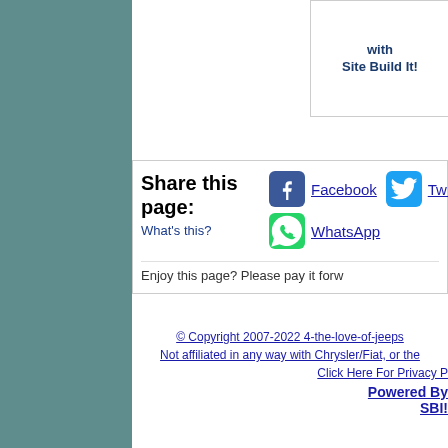[Figure (screenshot): Ad banner with text 'with Site Build It!' and image of person at laptop]
Share this page:
What's this?
Facebook
Twitter
WhatsApp
Enjoy this page? Please pay it forw
© Copyright 2007-2022 4-the-love-of-jeeps
Not affiliated in any way with Chrysler/Fiat, or the
Click Here For Privacy P
Powered By SBI!